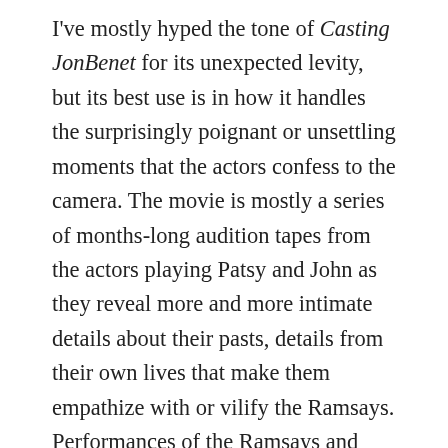I've mostly hyped the tone of Casting JonBenet for its unexpected levity, but its best use is in how it handles the surprisingly poignant or unsettling moments that the actors confess to the camera. The movie is mostly a series of months-long audition tapes from the actors playing Patsy and John as they reveal more and more intimate details about their pasts, details from their own lives that make them empathize with or vilify the Ramsays. Performances of the Ramsays and theories of who killed JonBenet and why are all marked by personal histories tied up with everything we know about the family: One woman, commenting on how everyone reacts differently to tragedies, evokes the murder of her own brother as a source of her performance, and